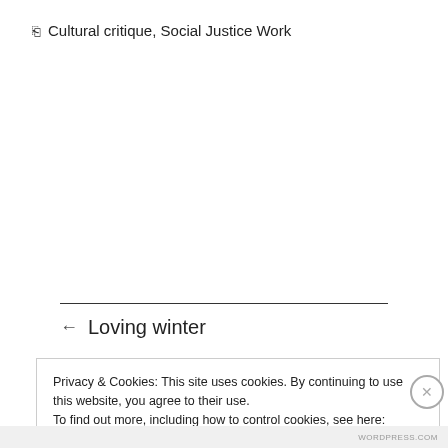□ Cultural critique, Social Justice Work
← Loving winter
Privacy & Cookies: This site uses cookies. By continuing to use this website, you agree to their use.
To find out more, including how to control cookies, see here: Cookie Policy
Close and accept